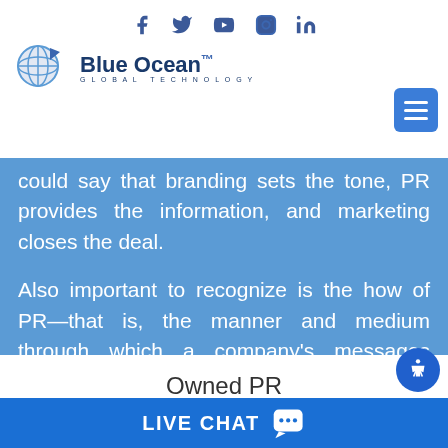Blue Ocean Global Technology — navigation header with social icons and menu button
could say that branding sets the tone, PR provides the information, and marketing closes the deal.
Also important to recognize is the how of PR—that is, the manner and medium through which a company's messages reach the market.
There are three recognized types of PR:
Owned PR
Earned PR
LIVE CHAT